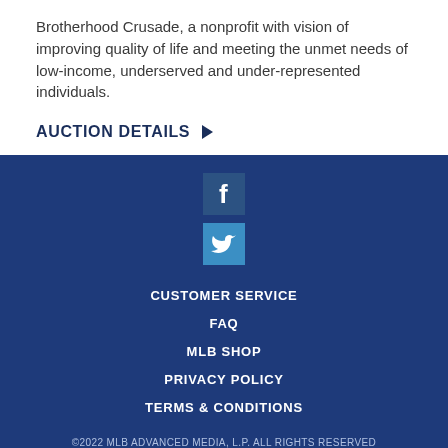Brotherhood Crusade, a nonprofit with vision of improving quality of life and meeting the unmet needs of low-income, underserved and under-represented individuals.
AUCTION DETAILS ▶
[Figure (illustration): Facebook icon - white 'f' on dark blue square background]
[Figure (illustration): Twitter icon - white bird logo on light blue square background]
CUSTOMER SERVICE
FAQ
MLB SHOP
PRIVACY POLICY
TERMS & CONDITIONS
©2022 MLB ADVANCED MEDIA, L.P. ALL RIGHTS RESERVED
The following are trademarks or service marks of Major League Baseball entities and may be used only with permission of Major League Baseball Properties, Inc. or the relevant Major League Baseball entity: Major League, Major League Baseball, MLB,